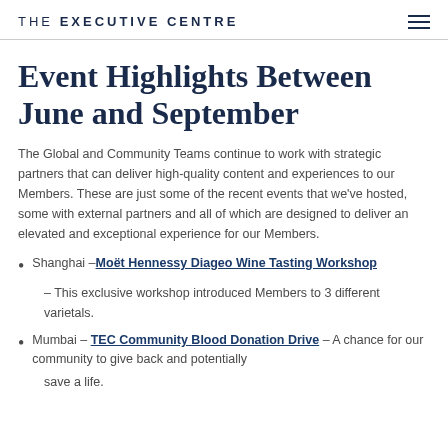THE EXECUTIVE CENTRE
Event Highlights Between June and September
The Global and Community Teams continue to work with strategic partners that can deliver high-quality content and experiences to our Members. These are just some of the recent events that we've hosted, some with external partners and all of which are designed to deliver an elevated and exceptional experience for our Members.
Shanghai – Moët Hennessy Diageo Wine Tasting Workshop – This exclusive workshop introduced Members to 3 different varietals.
Mumbai – TEC Community Blood Donation Drive – A chance for our community to give back and potentially save a life.